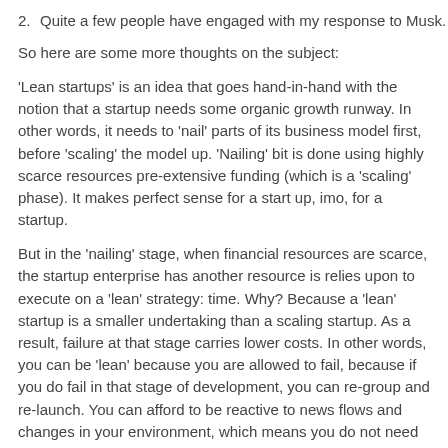2. Quite a few people have engaged with my response to Musk.
So here are some more thoughts on the subject:
'Lean startups' is an idea that goes hand-in-hand with the notion that a startup needs some organic growth runway. In other words, it needs to 'nail' parts of its business model first, before 'scaling' the model up. 'Nailing' bit is done using highly scarce resources pre-extensive funding (which is a 'scaling' phase). It makes perfect sense for a start up, imo, for a startup.
But in the 'nailing' stage, when financial resources are scarce, the startup enterprise has another resource is relies upon to execute on a 'lean' strategy: time. Why? Because a 'lean' startup is a smaller undertaking than a scaling startup. As a result, failure at that stage carries lower costs. In other words, you can be 'lean' because you are allowed to fail, because if you do fail in that stage of development, you can re-group and re-launch. You can afford to be reactive to news flows and changes in your environment, which means you do not need to over-provide resources in being predictive or pro-active. Your startup